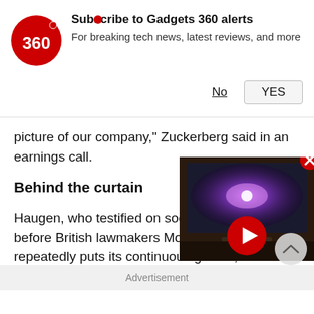[Figure (infographic): Gadgets 360 notification banner with red circular logo showing '360', subscribe prompt text, No and YES buttons]
picture of our company," Zuckerberg said in an earnings call.
Behind the curtain
Haugen, who testified on social media before British lawmakers Monday, has repeatedly puts its continuous growth, and thus well-being and safety of users.
[Figure (screenshot): Video thumbnail showing a TV with a galaxy/nebula image on screen and a red play button overlay]
Advertisement